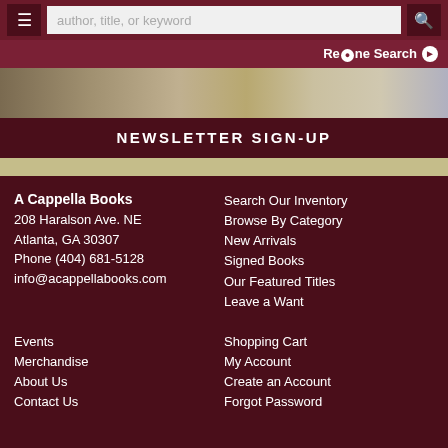author, title, or keyword
Refine Search
[Figure (photo): Blurred interior photo of a bookstore with shelves and books visible]
NEWSLETTER SIGN-UP
A Cappella Books
208 Haralson Ave. NE
Atlanta, GA 30307
Phone (404) 681-5128
info@acappellabooks.com
Search Our Inventory
Browse By Category
New Arrivals
Signed Books
Our Featured Titles
Leave a Want
Events
Merchandise
About Us
Contact Us
Shopping Cart
My Account
Create an Account
Forgot Password